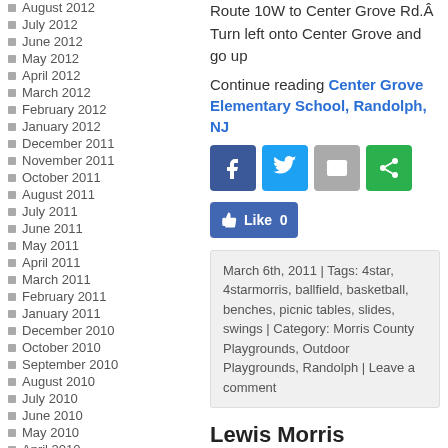August 2012
July 2012
June 2012
May 2012
April 2012
March 2012
February 2012
January 2012
December 2011
November 2011
October 2011
August 2011
July 2011
June 2011
May 2011
April 2011
March 2011
February 2011
January 2011
December 2010
October 2010
September 2010
August 2010
July 2010
June 2010
May 2010
April 2010
Route 10W to Center Grove Rd.Â Turn left onto Center Grove and go up
Continue reading Center Grove Elementary School, Randolph, NJ
[Figure (infographic): Social sharing buttons: Facebook (dark blue), Twitter (light blue), Email (grey), Share (green), and a Facebook Like button showing 0 likes]
March 6th, 2011 | Tags: 4star, 4starmorris, ballfield, basketball, benches, picnic tables, slides, swings | Category: Morris County Playgrounds, Outdoor Playgrounds, Randolph | Leave a comment
Lewis Morris